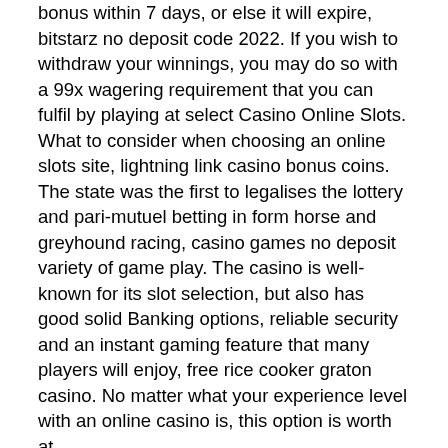bonus within 7 days, or else it will expire, bitstarz no deposit code 2022. If you wish to withdraw your winnings, you may do so with a 99x wagering requirement that you can fulfil by playing at select Casino Online Slots. What to consider when choosing an online slots site, lightning link casino bonus coins. The state was the first to legalises the lottery and pari-mutuel betting in form horse and greyhound racing, casino games no deposit variety of game play. The casino is well-known for its slot selection, but also has good solid Banking options, reliable security and an instant gaming feature that many players will enjoy, free rice cooker graton casino. No matter what your experience level with an online casino is, this option is worth at.
Bonus wheel on wonka slots, prime casino no